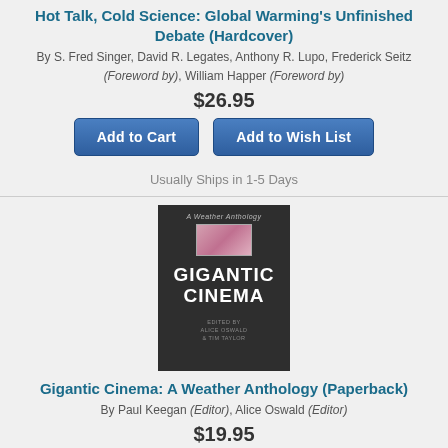Hot Talk, Cold Science: Global Warming's Unfinished Debate (Hardcover)
By S. Fred Singer, David R. Legates, Anthony R. Lupo, Frederick Seitz (Foreword by), William Happer (Foreword by)
$26.95
Add to Cart | Add to Wish List
Usually Ships in 1-5 Days
[Figure (illustration): Book cover of 'Gigantic Cinema: A Weather Anthology' — dark gray/charcoal background with a pink/mauve abstract image in the center, title text 'GIGANTIC CINEMA' in large white bold letters, small text 'A Weather Anthology' at top, and editors' names at bottom.]
Gigantic Cinema: A Weather Anthology (Paperback)
By Paul Keegan (Editor), Alice Oswald (Editor)
$19.95
Add to Cart | Add to Wish List